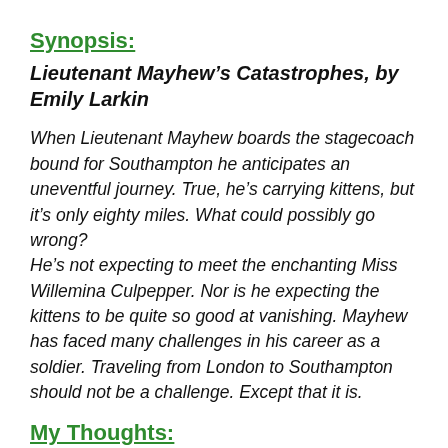Synopsis:
Lieutenant Mayhew's Catastrophes, by Emily Larkin
When Lieutenant Mayhew boards the stagecoach bound for Southampton he anticipates an uneventful journey. True, he's carrying kittens, but it's only eighty miles. What could possibly go wrong?
He's not expecting to meet the enchanting Miss Willemina Culpepper. Nor is he expecting the kittens to be quite so good at vanishing. Mayhew has faced many challenges in his career as a soldier. Traveling from London to Southampton should not be a challenge. Except that it is.
My Thoughts:
Lietenant Mayhew's Catastrophe seemed just that… An utter disaster in the making with one after the other